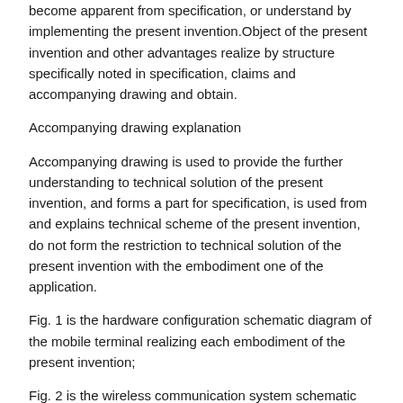become apparent from specification, or understand by implementing the present invention.Object of the present invention and other advantages realize by structure specifically noted in specification, claims and accompanying drawing and obtain.
Accompanying drawing explanation
Accompanying drawing is used to provide the further understanding to technical solution of the present invention, and forms a part for specification, is used from and explains technical scheme of the present invention, do not form the restriction to technical solution of the present invention with the embodiment one of the application.
Fig. 1 is the hardware configuration schematic diagram of the mobile terminal realizing each embodiment of the present invention;
Fig. 2 is the wireless communication system schematic diagram of mobile terminal as shown in Figure 1;
Fig. 3 is the flow chart that the present invention realizes the method for recording;